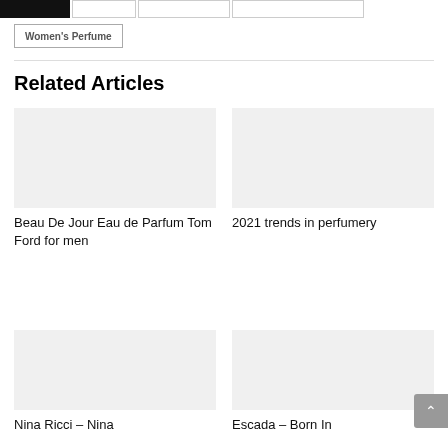Women's Perfume
Related Articles
Beau De Jour Eau de Parfum Tom Ford for men
2021 trends in perfumery
Nina Ricci – Nina
Escada – Born In